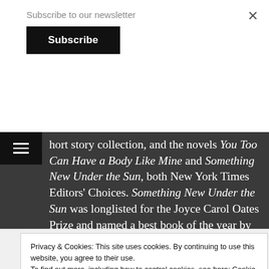Subscribe to our newsletter
Subscribe
hort story collection, and the novels You Too Can Have a Body Like Mine and Something New Under the Sun, both New York Times Editors' Choices. Something New Under the Sun was longlisted for the Joyce Carol Oates Prize and named a best book of the year by The New York Times Book Review, Time, Los
Privacy & Cookies: This site uses cookies. By continuing to use this website, you agree to their use.
To find out more, including how to control cookies, see here: Cookie Policy
Close and accept
Getting your team on the same page is easy. And free.